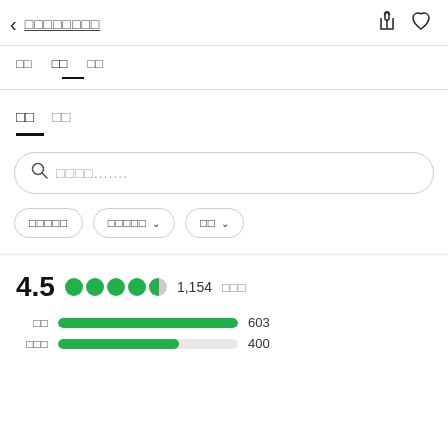< □□□□□□□□
□□  □□  □□
□□  □□
□□□□.......
□□□□□  □□□□□ ∨  □□ ∨
4.5  ●●●●◑  1,154 □□□
□□  603
□□□  400+